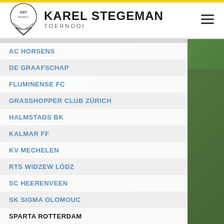KAREL STEGEMAN TOERNOOI
AC HORSENS
DE GRAAFSCHAP
FLUMINENSE FC
GRASSHOPPER CLUB ZÜRICH
HALMSTADS BK
KALMAR FF
KV MECHELEN
RTS WIDZEW LÓDZ
SC HEERENVEEN
SK SIGMA OLOMOUC
SPARTA ROTTERDAM
VITESSE